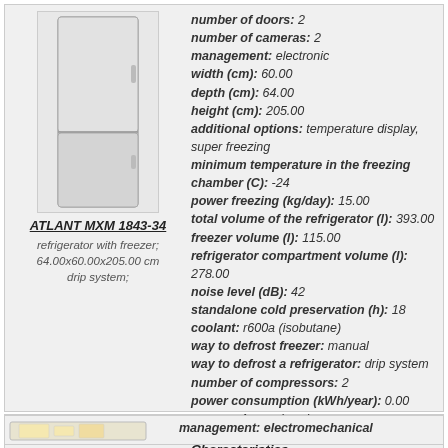[Figure (photo): Refrigerator ATLANT MXM 1843-34 product photo, tall two-door fridge]
ATLANT MXM 1843-34
refrigerator with freezer; 64.00x60.00x205.00 cm drip system;
number of doors: 2
number of cameras: 2
management: electronic
width (cm): 60.00
depth (cm): 64.00
height (cm): 205.00
additional options: temperature display, super freezing
minimum temperature in the freezing chamber (C): -24
power freezing (kg/day): 15.00
total volume of the refrigerator (l): 393.00
freezer volume (l): 115.00
refrigerator compartment volume (l): 278.00
noise level (dB): 42
standalone cold preservation (h): 18
coolant: r600a (isobutane)
way to defrost freezer: manual
way to defrost a refrigerator: drip system
number of compressors: 2
power consumption (kWh/year): 0.00
energy class: class b
more information
[Figure (photo): Refrigerator ATLANT MXM 1804-28 product photo, open fridge]
Fridge ATLANT MXM 1804-28 Characteristics
type fridge: refrigerator with freezer
manufacturer: ATLANT
freezer location: below
fridge location: standing separately
number of doors: 2
number of cameras: 2
management: electromechanical